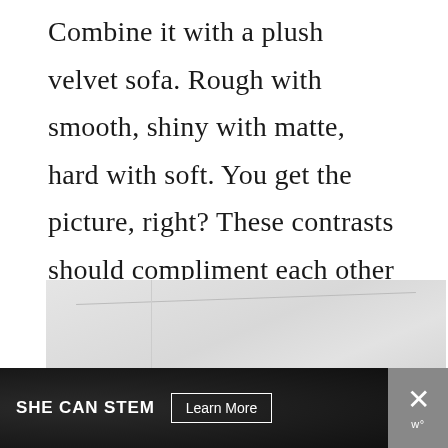Combine it with a plush velvet sofa. Rough with smooth, shiny with matte, hard with soft. You get the picture, right? These contrasts should compliment each other rather than each screaming to be heard – ying and yang.
[Figure (photo): Interior room photo showing white walls, ceiling corner detail, and a framed artwork partially visible at the bottom center of the image.]
SHE CAN STEM   Learn More